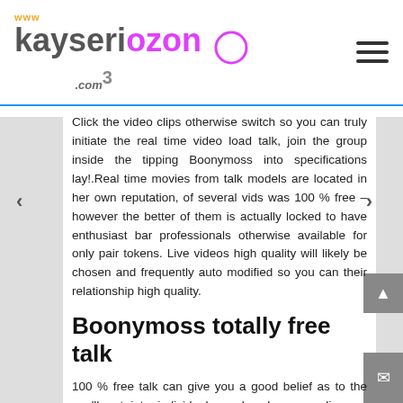www.kayseriozon.com
Click the video clips otherwise switch so you can truly initiate the real time video load talk, join the group inside the tipping Boonymoss into specifications lay!.Real time movies from talk models are located in her own reputation, of several vids was 100 % free – however the better of them is actually locked to have enthusiast bar professionals otherwise available for only pair tokens. Live videos high quality will likely be chosen and frequently auto modified so you can their relationship high quality.
Boonymoss totally free talk
100 % free talk can give you a good belief as to the you'll get into individual speak, when you discover desired deity getting the virtual partner and will also be capable have traditionally length matchmaking. You're blessed to experience everything you available online for you if you are looking getting slutty 100 % free talk.